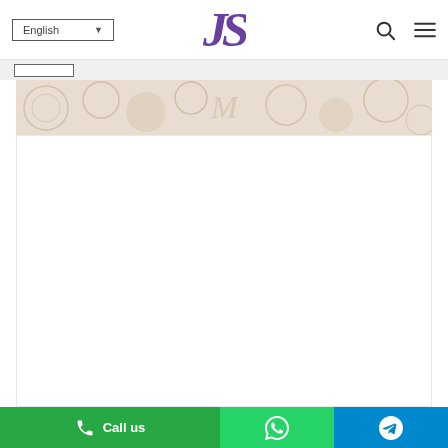[Figure (screenshot): Website navigation bar with language selector showing 'English', a purple JS logo in the center, and search and menu icons on the right]
[Figure (photo): Decorative banner image with beige/tan floral or circular pattern on light background]
[Figure (screenshot): White content area below banner, appears to be a product or article section]
[Figure (screenshot): Bottom action bar with three buttons: green 'Call us' button, lighter green WhatsApp button, and blue Telegram button]